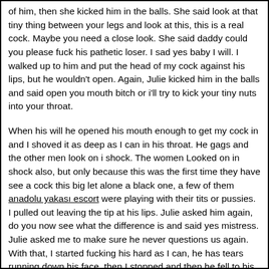of him, then she kicked him in the balls. She said look at that tiny thing between your legs and look at this, this is a real cock. Maybe you need a close look. She said daddy could you please fuck his pathetic loser. I sad yes baby I will. I walked up to him and put the head of my cock against his lips, but he wouldn't open. Again, Julie kicked him in the balls and said open you mouth bitch or i'll try to kick your tiny nuts into your throat.
When his will he opened his mouth enough to get my cock in and I shoved it as deep as I can in his throat. He gags and the other men look on i shock. The women Looked on in shock also, but only because this was the first time they have see a cock this big let alone a black one, a few of them anadolu yakası escort were playing with their tits or pussies. I pulled out leaving the tip at his lips. Julie asked him again, do you now see what the difference is and said yes mistress. Julie asked me to make sure he never questions us again. With that, I started fucking his hard as I can, he has tears running down his face, then I stopped and then he fell to his knees gagging. Julie then asked the other tramps, do they have a problem and all of them, at